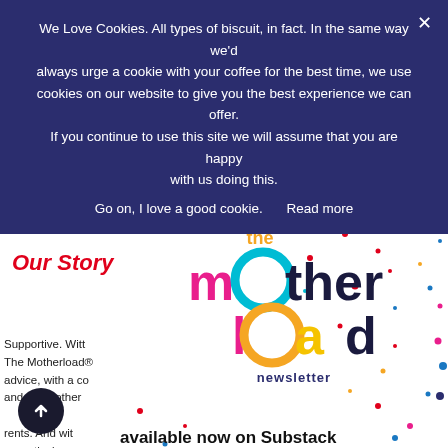We Love Cookies. All types of biscuit, in fact. In the same way we'd always urge a cookie with your coffee for the best time, we use cookies on our website to give you the best experience we can offer. If you continue to use this site we will assume that you are happy with us doing this.
Go on, I love a good cookie.   Read more
Our Story
[Figure (logo): The Motherload newsletter logo with colorful lettering: 'the' in orange, 'mo' with pink 'm' and teal 'o', 'ther' in dark navy, 'load' with pink 'l', orange 'o', yellow 'a', navy 'd', and 'newsletter' below in navy bold text.]
Supportive. Witty. The Motherload® advice, with a co and meet other rents. And wit we actively supp blo... The Moth
available now on Substack